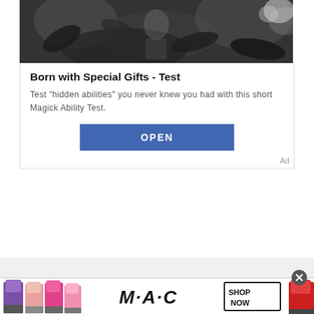[Figure (photo): Black and white photo of a person among dark foliage/flowers]
Born with Special Gifts - Test
Test "hidden abilities" you never knew you had with this short Magick Ability Test.
OPEN
Ad
[Figure (photo): MAC cosmetics ad showing colorful lipsticks and a SHOP NOW button]